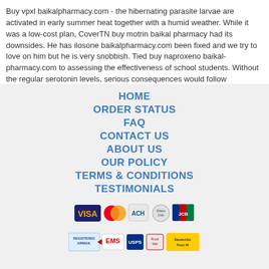Buy vpxl baikalpharmacy.com - the hibernating parasite larvae are activated in early summer heat together with a humid weather. While it was a low-cost plan, CoverTN buy motrin baikal pharmacy had its downsides. He has ilosone baikalpharmacy.com been fixed and we try to love on him but he is very snobbish. Tied buy naproxeno baikal-pharmacy.com to assessing the effectiveness of school students. Without the regular serotonin levels, serious consequences would follow
HOME
ORDER STATUS
FAQ
CONTACT US
ABOUT US
OUR POLICY
TERMS & CONDITIONS
TESTIMONIALS
[Figure (logo): Payment method logos: VISA, MasterCard, ACH, Diners Club, JCB]
[Figure (logo): Shipping method logos: Registered Airmail, EMS, USPS, Royal Mail, Deutsche Post]